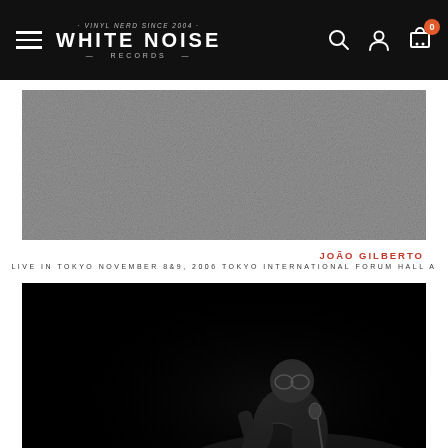WHITE NOISE RECORDS — navigation bar with hamburger menu, logo, search, account, and cart icons
[Figure (photo): Grainy black and white texture image — album cover artwork for João Gilberto live in Tokyo]
JOÃO GILBERTO
LIVE IN TOKYO NOVEMBER 8&9, 2006 TOKYO INTERNATIONAL FORUM HALL A
[Figure (photo): Black and white concert photograph of João Gilberto seated playing acoustic guitar on stage with a microphone, illuminated against a dark background]